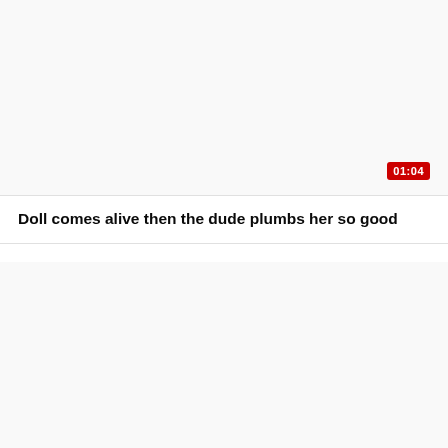[Figure (screenshot): Video thumbnail placeholder area, light gray background]
01:04
Doll comes alive then the dude plumbs her so good